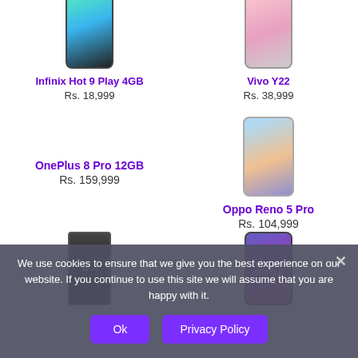[Figure (photo): Infinix Hot 9 Play 4GB smartphone product photo (teal/black gradient)]
Infinix Hot 9 Play 4GB
Rs. 18,999
[Figure (photo): Vivo Y22 smartphone product photo (pink/light gradient)]
Vivo Y22
Rs. 38,999
OnePlus 8 Pro 12GB
Rs. 159,999
[Figure (photo): Oppo Reno 5 Pro smartphone product photo (colorful abstract background)]
Oppo Reno 5 Pro
Rs. 104,999
[Figure (photo): Sony smartphone product photo (dark/black)]
[Figure (photo): OnePlus smartphone product photo (purple/blue/NEVER text)]
We use cookies to ensure that we give you the best experience on our website. If you continue to use this site we will assume that you are happy with it.